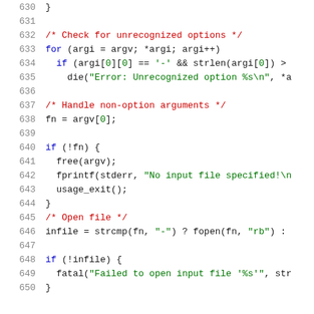Code listing lines 630-650, C source code showing argument parsing and file opening logic